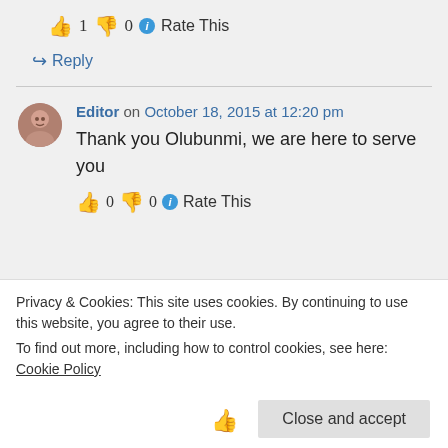👍 1 👎 0 ℹ Rate This
↪ Reply
Editor on October 18, 2015 at 12:20 pm
Thank you Olubunmi, we are here to serve you
👍 0 👎 0 ℹ Rate This
Privacy & Cookies: This site uses cookies. By continuing to use this website, you agree to their use.
To find out more, including how to control cookies, see here: Cookie Policy
Close and accept